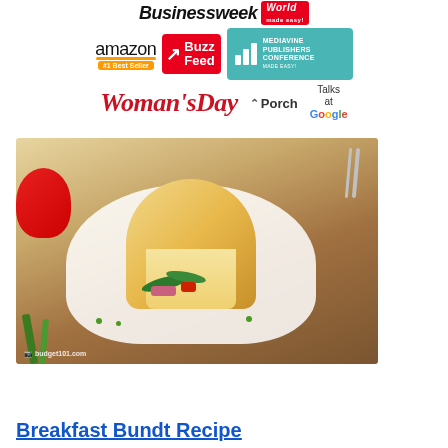[Figure (logo): Businessweek World logo, Amazon #1 Best Seller badge, BuzzFeed logo, Mediavine Publishers Conference logo, Woman's Day logo, Porch logo, Talks at Google logo]
[Figure (photo): A cross-section slice of a Breakfast Bundt bake on a white plate, showing spinach, ham, and red peppers inside golden egg bread, garnished with green onions. A red tomato and green onions visible in background. budget101.com watermark in corner.]
Breakfast Bundt Recipe